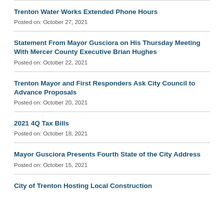Trenton Water Works Extended Phone Hours
Posted on: October 27, 2021
Statement From Mayor Gusciora on His Thursday Meeting With Mercer County Executive Brian Hughes
Posted on: October 22, 2021
Trenton Mayor and First Responders Ask City Council to Advance Proposals
Posted on: October 20, 2021
2021 4Q Tax Bills
Posted on: October 18, 2021
Mayor Gusciora Presents Fourth State of the City Address
Posted on: October 15, 2021
City of Trenton Hosting Local Construction